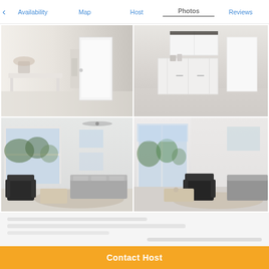< Availability  Map  Host  Photos  Reviews
[Figure (photo): Interior hallway/entryway with white door and console table with flowers]
[Figure (photo): Kitchen area with white cabinets and countertop]
[Figure (photo): Living room with large windows, ceiling fan, gray sectional sofa, dark recliner chair, and patterned rug]
[Figure (photo): Living room with sliding glass doors to balcony, dark recliner chair, sofa, and patterned rug]
[Redacted content]
Contact Host